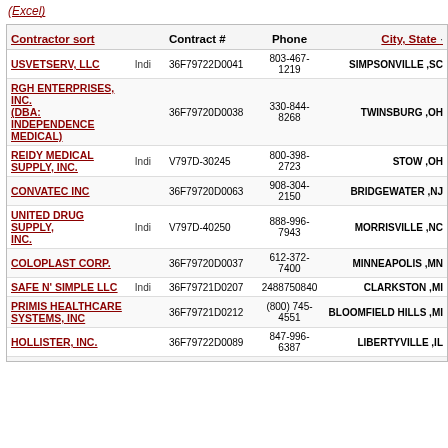(Excel)
| Contractor sort |  | Contract # | Phone | City, State |
| --- | --- | --- | --- | --- |
| USVETSERV, LLC | Indi | 36F79722D0041 | 803-467-1219 | SIMPSONVILLE ,SC |
| RGH ENTERPRISES, INC. (DBA: INDEPENDENCE MEDICAL) |  | 36F79720D0038 | 330-844-8268 | TWINSBURG ,OH |
| REIDY MEDICAL SUPPLY, INC. | Indi | V797D-30245 | 800-398-2723 | STOW ,OH |
| CONVATEC INC |  | 36F79720D0063 | 908-304-2150 | BRIDGEWATER ,NJ |
| UNITED DRUG SUPPLY, INC. | Indi | V797D-40250 | 888-996-7943 | MORRISVILLE ,NC |
| COLOPLAST CORP. |  | 36F79720D0037 | 612-372-7400 | MINNEAPOLIS ,MN |
| SAFE N' SIMPLE LLC | Indi | 36F79721D0207 | 2488750840 | CLARKSTON ,MI |
| PRIMIS HEALTHCARE SYSTEMS, INC |  | 36F79721D0212 | (800) 745-4551 | BLOOMFIELD HILLS ,MI |
| HOLLISTER, INC. |  | 36F79722D0089 | 847-996-6387 | LIBERTYVILLE ,IL |